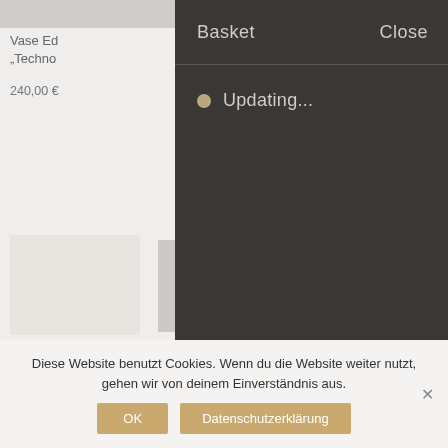[Figure (screenshot): Left panel of an e-commerce product page, partially visible. Shows a product title starting with 'Vase Ed' and '"Techno' on second line, price '240,00 €', and a product image placeholder in light gray at the bottom.]
Basket
Close
Updating...
Diese Website benutzt Cookies. Wenn du die Website weiter nutzt, gehen wir von deinem Einverständnis aus.
OK
Datenschutzerklärung